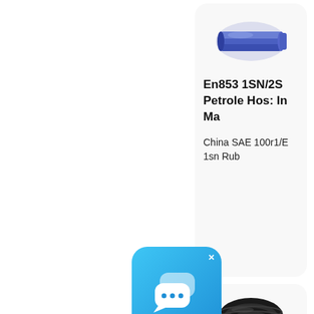[Figure (photo): Blue rubber hydraulic hose roll product image]
En853 1SN/2S Petroleum Hose In Ma
China SAE 100r1/E 1sn Rub
[Figure (illustration): Chat bubble icon overlay with close button]
[Figure (photo): Black rubber hose coil product image]